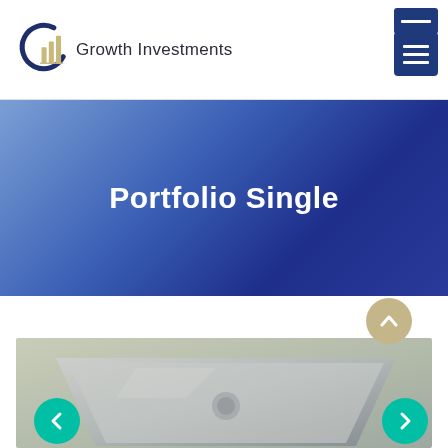[Figure (logo): Growth Investments logo: circular arc with bar chart icon in navy and gold/tan colors, followed by text 'Growth Investments']
[Figure (other): Dark navy blue hamburger menu button (three horizontal lines)]
Portfolio Single
[Figure (photo): Partial photograph of a MacBook laptop on a gray background, with navigation arrows and a scroll-to-top button visible]